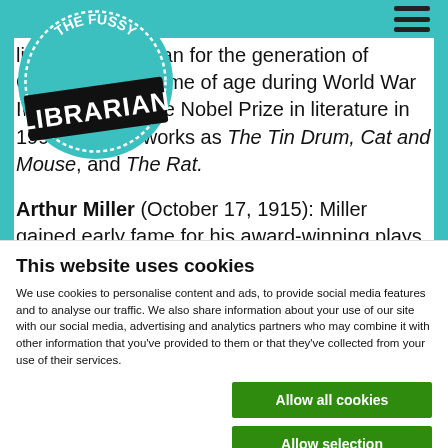The Fussy Librarian
literary spokesman for the generation of Germans who came of age during World War II; he received the Nobel Prize in literature in 1999 for such works as The Tin Drum, Cat and Mouse, and The Rat.
Arthur Miller (October 17, 1915): Miller gained early fame for his award-winning plays Death of a
This website uses cookies
We use cookies to personalise content and ads, to provide social media features and to analyse our traffic. We also share information about your use of our site with our social media, advertising and analytics partners who may combine it with other information that you've provided to them or that they've collected from your use of their services.
Allow all cookies
Allow selection